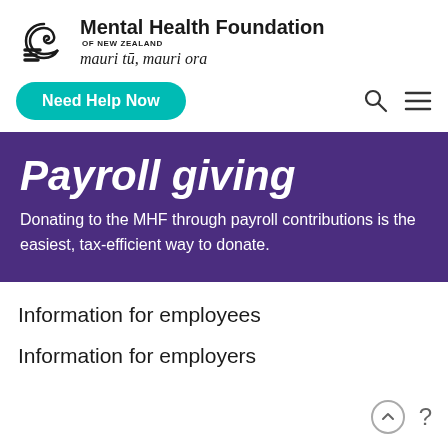[Figure (logo): Mental Health Foundation of New Zealand logo with koru/spiral symbol and tagline 'mauri tū, mauri ora']
Need Help Now
Payroll giving
Donating to the MHF through payroll contributions is the easiest, tax-efficient way to donate.
Information for employees
Information for employers